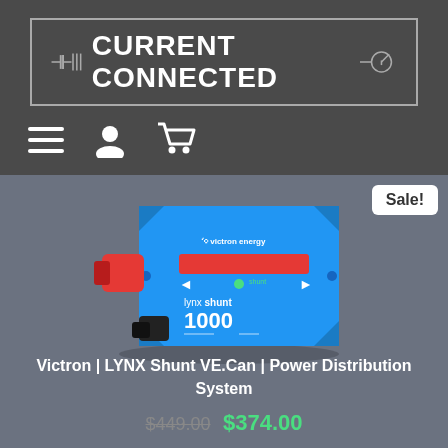[Figure (logo): Current Connected logo with circuit board styling, white bold text on dark gray background with border]
[Figure (infographic): Navigation icons: hamburger menu, user/profile icon, shopping cart icon - white icons on dark gray background]
[Figure (photo): Victron Energy LYNX Shunt VE.Can 1000 product photo - blue rectangular device with red terminal on left, display panel showing 'lynx shunt 1000', on gray background with Sale! badge]
Victron | LYNX Shunt VE.Can | Power Distribution System
$449.00 $374.00